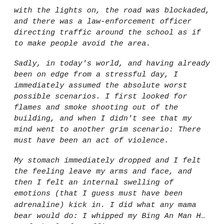with the lights on, the road was blockaded, and there was a law-enforcement officer directing traffic around the school as if to make people avoid the area.
Sadly, in today's world, and having already been on edge from a stressful day, I immediately assumed the absolute worst possible scenarios. I first looked for flames and smoke shooting out of the building, and when I didn't see that my mind went to another grim scenario: There must have been an act of violence.
My stomach immediately dropped and I felt the feeling leave my arms and face, and then I felt an internal swelling of emotions (that I guess must have been adrenaline) kick in. I did what any mama bear would do: I whipped my Bing An Man H... to f the l... f t offic...